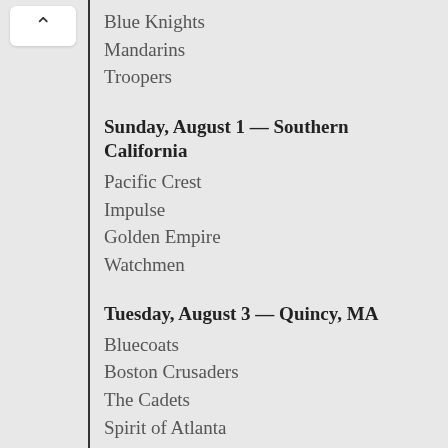Blue Knights
Mandarins
Troopers
Sunday, August 1 — Southern California
Pacific Crest
Impulse
Golden Empire
Watchmen
Tuesday, August 3 — Quincy, MA
Bluecoats
Boston Crusaders
The Cadets
Spirit of Atlanta
Music City
Tuesday, August 3 — Amarillo, TX area
Blue Knights
Mandarins
Gold